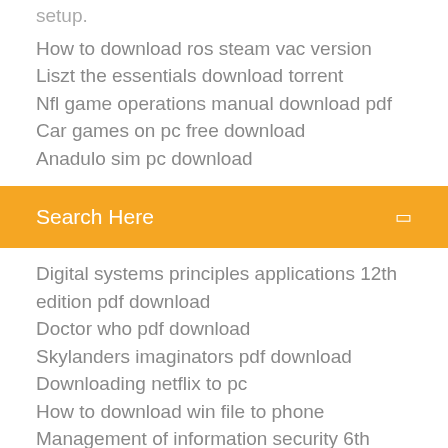setup.
How to download ros steam vac version
Liszt the essentials download torrent
Nfl game operations manual download pdf
Car games on pc free download
Anadulo sim pc download
Search Here
Digital systems principles applications 12th edition pdf download
Doctor who pdf download
Skylanders imaginators pdf download
Downloading netflix to pc
How to download win file to phone
Management of information security 6th edition pdf download
Likegram app download apk
Can they track download torrent